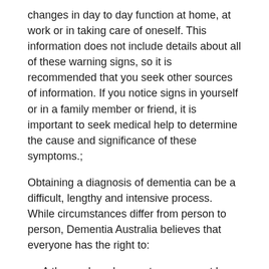changes in day to day function at home, at work or in taking care of oneself. This information does not include details about all of these warning signs, so it is recommended that you seek other sources of information. If you notice signs in yourself or in a family member or friend, it is important to seek medical help to determine the cause and significance of these symptoms.;
Obtaining a diagnosis of dementia can be a difficult, lengthy and intensive process. While circumstances differ from person to person, Dementia Australia believes that everyone has the right to:
A thorough and prompt assessment by medical professionals,;
Sensitive communication of a diagnosis with appropriate explanation of symptoms and prognosis,;